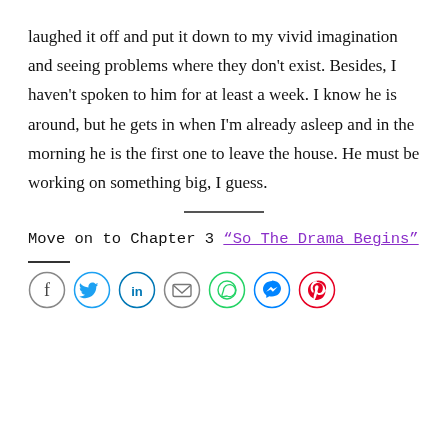laughed it off and put it down to my vivid imagination and seeing problems where they don't exist. Besides, I haven't spoken to him for at least a week. I know he is around, but he gets in when I'm already asleep and in the morning he is the first one to leave the house. He must be working on something big, I guess.
Move on to Chapter 3 “So The Drama Begins”